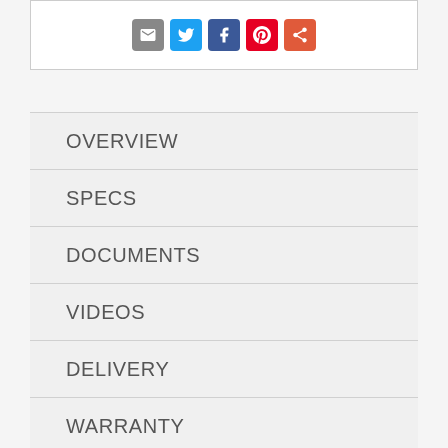[Figure (other): Social sharing icons: email (gray), Twitter (blue), Facebook (dark blue), Pinterest (red), Share/plus (orange-red)]
OVERVIEW
SPECS
DOCUMENTS
VIDEOS
DELIVERY
WARRANTY
REVIEWS (683)